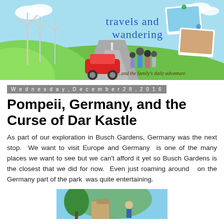[Figure (illustration): Travels and Wandering blog banner showing a family with a red car on a road, wind turbines, green hills, blue sky, and travel photos pinned with binder clips. Text reads 'travels and wandering ...and the family's daily adventure']
Wednesday, December 28, 2016
Pompeii, Germany, and the Curse of Dar Kastle
As part of our exploration in Busch Gardens, Germany was the next stop.  We want to visit Europe and Germany  is one of the many places we want to see but we can't afford it yet so Busch Gardens is the closest that we did for now.  Even just roaming around  on the Germany part of the park  was quite entertaining.
[Figure (photo): Partial photo showing a building with trees and a person, bottom of page]